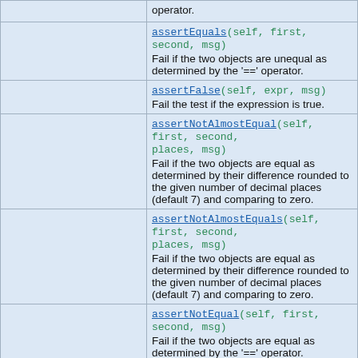|  | Method / Description |
| --- | --- |
|  | operator. |
|  | assertEquals(self, first, second, msg)
Fail if the two objects are unequal as determined by the '==' operator. |
|  | assertFalse(self, expr, msg)
Fail the test if the expression is true. |
|  | assertNotAlmostEqual(self, first, second, places, msg)
Fail if the two objects are equal as determined by their difference rounded to the given number of decimal places (default 7) and comparing to zero. |
|  | assertNotAlmostEquals(self, first, second, places, msg)
Fail if the two objects are equal as determined by their difference rounded to the given number of decimal places (default 7) and comparing to zero. |
|  | assertNotEqual(self, first, second, msg)
Fail if the two objects are equal as determined by the '==' operator. |
|  | assertNotEquals(self, first, second, msg)
Fail if the two objects are equal as determined by the '==' operator. |
|  | assertRaises(self, excClass, callableObj, *args, **kwargs) |